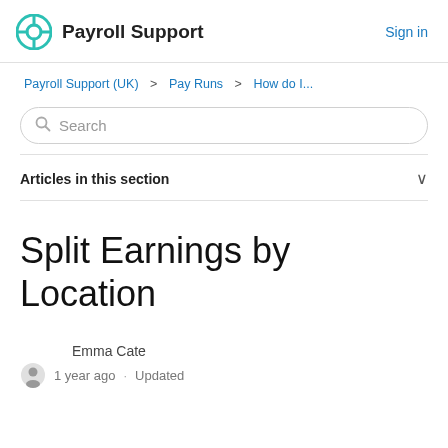Payroll Support   Sign in
Payroll Support (UK) > Pay Runs > How do I...
Search
Articles in this section
Split Earnings by Location
Emma Cate
1 year ago · Updated